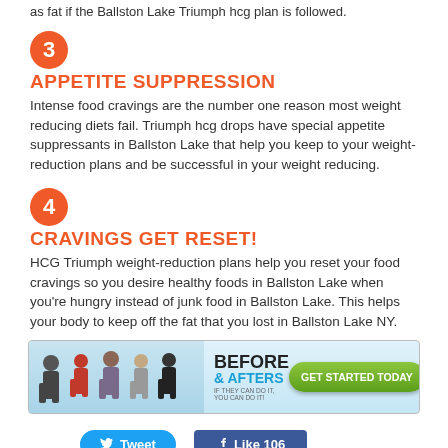as fat if the Ballston Lake Triumph hcg plan is followed.
3 APPETITE SUPPRESSION
Intense food cravings are the number one reason most weight reducing diets fail. Triumph hcg drops have special appetite suppressants in Ballston Lake that help you keep to your weight-reduction plans and be successful in your weight reducing.
4 CRAVINGS GET RESET!
HCG Triumph weight-reduction plans help you reset your food cravings so you desire healthy foods in Ballston Lake when you're hungry instead of junk food in Ballston Lake. This helps your body to keep off the fat that you lost in Ballston Lake NY.
[Figure (infographic): Banner advertisement showing before and after silhouettes of people, with text BEFORE & AFTERS and a green GET STARTED TODAY button]
Tweet  Like 106